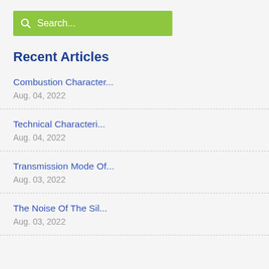[Figure (other): Green search bar with magnifier icon and placeholder text 'Search...']
Recent Articles
Combustion Character...
Aug. 04, 2022
Technical Characteri...
Aug. 04, 2022
Transmission Mode Of...
Aug. 03, 2022
The Noise Of The Sil...
Aug. 03, 2022